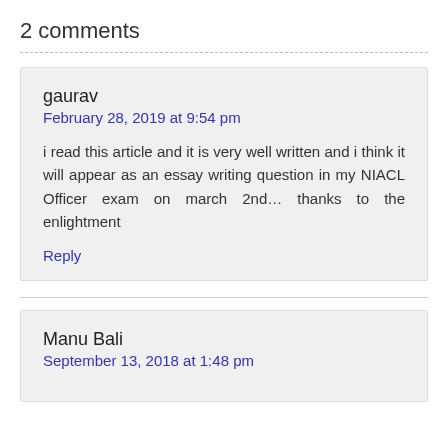2 comments
gaurav
February 28, 2019 at 9:54 pm

i read this article and it is very well written and i think it will appear as an essay writing question in my NIACL Officer exam on march 2nd… thanks to the enlightment

Reply
Manu Bali
September 13, 2018 at 1:48 pm